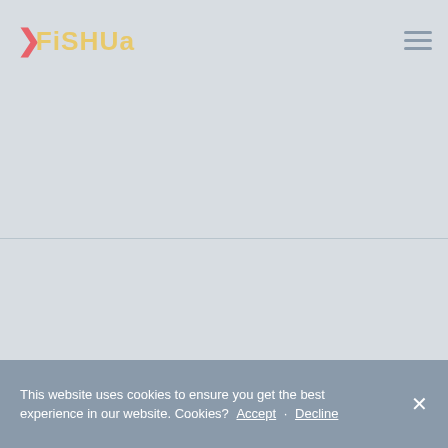[Figure (logo): >FISHUALS logo in yellow/cream bubble letters with a red arrow/chevron prefix, on a light gray background]
[Figure (other): Hamburger menu icon (three horizontal lines) in muted blue-gray on the top right]
This website uses cookies to ensure you get the best experience in our website. Cookies? Accept · Decline